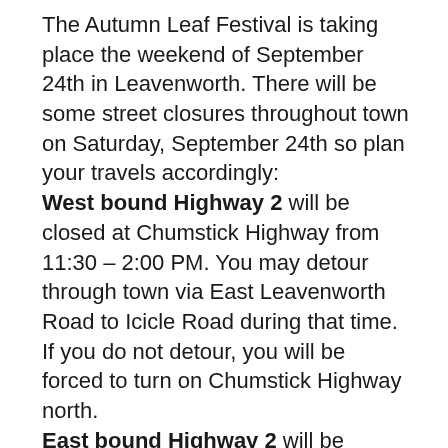The Autumn Leaf Festival is taking place the weekend of September 24th in Leavenworth. There will be some street closures throughout town on Saturday, September 24th so plan your travels accordingly: West bound Highway 2 will be closed at Chumstick Highway from 11:30 – 2:00 PM. You may detour through town via East Leavenworth Road to Icicle Road during that time. If you do not detour, you will be forced to turn on Chumstick Highway north. East bound Highway 2 will be closed at Icicle Road from 11:30 – 2:00 PM. You must detour through town via Icicle Road to East Leavenworth Road during that time. If you a a local resident with a picture ID, you will be